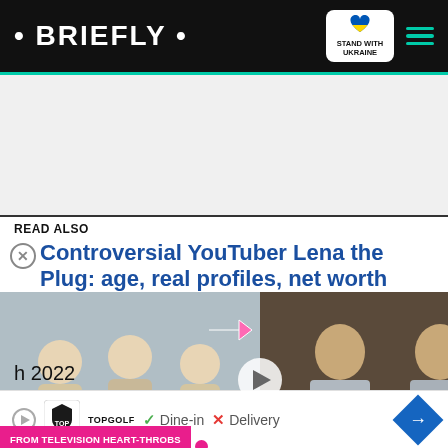• BRIEFLY •  STAND WITH UKRAINE
[Figure (screenshot): Gray advertisement placeholder area]
READ ALSO
Controversial YouTuber Lena the Plug: age, real profiles, net worth
[Figure (screenshot): Video thumbnail split panel: left shows young men group photo, right shows two older women in silver jackets. Pink arrow overlay pointing right, play button in center. Bottom label reads FROM TELEVISION HEART-THROBS TO MEME CELEBS. Red chevron button bottom right.]
h 2022
[Figure (screenshot): Bottom advertisement bar: Topgolf logo with play icon, checkmark Dine-in, X Delivery, blue diamond navigation arrow]